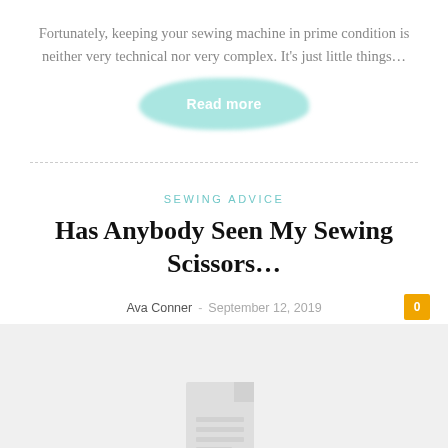Fortunately, keeping your sewing machine in prime condition is neither very technical nor very complex. It's just little things…
[Figure (other): Teal watercolor brush stroke button with 'Read more' text]
SEWING ADVICE
Has Anybody Seen My Sewing Scissors…
Ava Conner - September 12, 2019  0
[Figure (illustration): Light gray document/article placeholder icon on gray background]